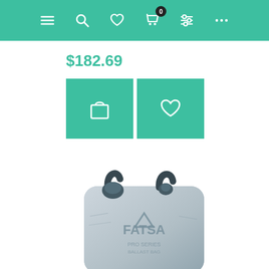Navigation bar with menu, search, wishlist, cart (0), filter, and more options icons
$182.69
[Figure (screenshot): Two teal action buttons: a shopping bag icon button and a heart/wishlist icon button]
[Figure (photo): A gray FATSA (FatSac) ballast bag water bladder with two black handles on top and a fill port, shown on a white background]